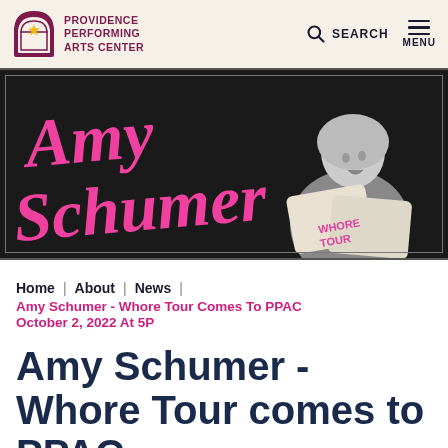Providence Performing Arts Center | Search | Menu
[Figure (photo): Amy Schumer Whore Tour promotional banner — dark background with large pink cursive 'Amy Schumer' text on the left, and a black-and-white photo of Amy Schumer holding pillows stamped with 'WHORE TOUR' on the right.]
Home | About | News
Amy Schumer - Whore Tour Comes To PPAC
October 2, 2022 At 5P
Amy Schumer - Whore Tour comes to PPAC